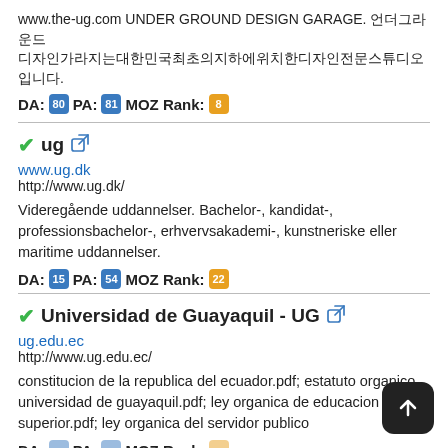www.the-ug.com UNDER GROUND DESIGN GARAGE. 언더그라운드 디자인가라지는대한민국최초의지하에위치한디자인전문스튜디오입니다.
DA: 80 PA: 81 MOZ Rank: 8
ug
www.ug.dk
http://www.ug.dk/
Videregående uddannelser. Bachelor-, kandidat-, professionsbachelor-, erhvervsakademi-, kunstneriske eller maritime uddannelser.
DA: 15 PA: 54 MOZ Rank: 22
Universidad de Guayaquil - UG
ug.edu.ec
http://www.ug.edu.ec/
constitucion de la republica del ecuador.pdf; estatuto organico universidad de guayaquil.pdf; ley organica de educacion superior.pdf; ley organica del servidor publico
DA: PA: MOZ Rank: